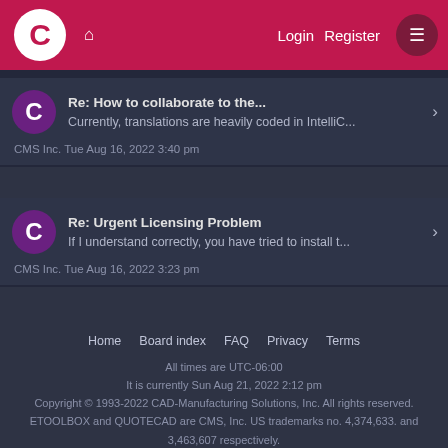Login  Register
Re: How to collaborate to the...
Currently, translations are heavily coded in IntelliC...
CMS Inc. Tue Aug 16, 2022 3:40 pm
Re: Urgent Licensing Problem
If I understand correctly, you have tried to install t...
CMS Inc. Tue Aug 16, 2022 3:23 pm
Home  Board index  FAQ  Privacy  Terms
All times are UTC-06:00
It is currently Sun Aug 21, 2022 2:12 pm
Copyright © 1993-2022 CAD-Manufacturing Solutions, Inc. All rights reserved.
ETOOLBOX and QUOTECAD are CMS, Inc. US trademarks no. 4,374,633. and 3,463,607 respectively.
Avatar icons made by Freepik from www.flaticon.com